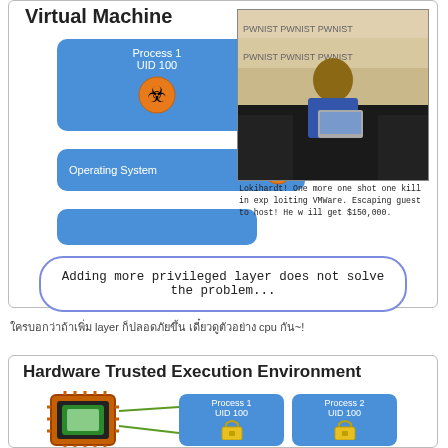[Figure (infographic): Virtual Machine diagram showing Process 1 (UID 100) with biohazard symbol, Operating System with biohazard symbol, an empty blue box, a photo of a person at a conference with caption about exploiting VMware for $150,000, and a rounded rectangle with text about privileged layers not solving the problem.]
ใครบอกว่าถ้าเพิ่ม layer ก็ปลอดภัยขึ้น เดี๋ยวดูตัวอย่าง cpu กัน~!
[Figure (infographic): Hardware Trusted Execution Environment diagram showing a CPU chip with green connections to Process 1 (UID 100) and Process 2 (UID 100) boxes with lock icons, an Operating System box, and a Hypervisor box below.]